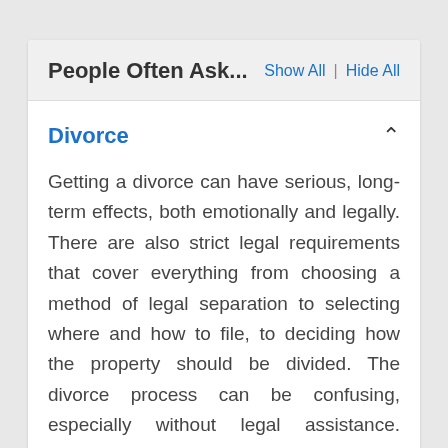People Often Ask...
Divorce
Getting a divorce can have serious, long-term effects, both emotionally and legally. There are also strict legal requirements that cover everything from choosing a method of legal separation to selecting where and how to file, to deciding how the property should be divided. The divorce process can be confusing, especially without legal assistance. FindLaw's directory can connect you with trusted divorce lawyers in Burnsville, Minnesota to guide you through the divorce process and minimize the stress you experience during this difficult time.